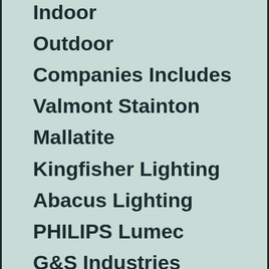Indoor
Outdoor
Companies Includes
Valmont Stainton
Mallatite
Kingfisher Lighting
Abacus Lighting
PHILIPS Lumec
G&S Industries
Alfred Priess A/S
Abacus Lighting
INGAL EPS